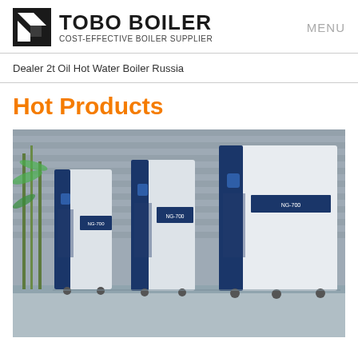TOBO BOILER - COST-EFFECTIVE BOILER SUPPLIER | MENU
Dealer 2t Oil Hot Water Boiler Russia
Hot Products
[Figure (photo): Three industrial boiler units (NG-700 model) in white and dark blue casing, shown in a row against a grey stone wall backdrop. The boilers are tall, box-shaped units on wheels with control panels and display screens.]